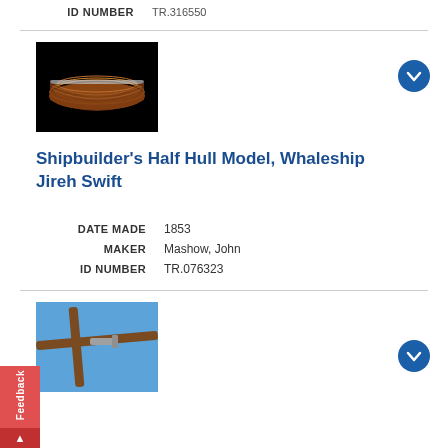ID NUMBER   TR.316550
[Figure (photo): Shipbuilder's half hull model of a whaleship on dark background, showing the wooden hull profile from the side]
Shipbuilder's Half Hull Model, Whaleship Jireh Swift
DATE MADE   1853
MAKER   Mashow, John
ID NUMBER   TR.076323
[Figure (photo): Harpoon or whaling tool on blue background, showing wooden shaft and iron fitting]